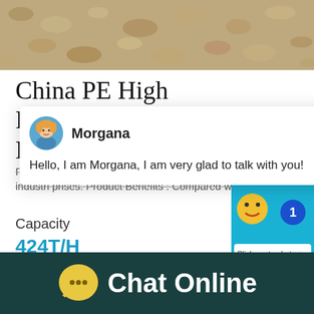[Figure (photo): Top portion showing crushed stone/gravel material, sandy grayish texture]
China PE High Performance Stone Mining Jaw Crusher -
Product information: name: Jaw Crusher; Brand :FL; Application mining, building materials, chemical industries, prises. Product Benefits : Compared with the
Capacity
424T/H
[Figure (screenshot): Chat popup overlay with avatar of Morgana and message: Hello, I am Morgana, I am very glad to talk with you!]
[Figure (screenshot): Chat widget on right side with blue background, smiley face, number 1 badge, and Click me to chat >> button, and Enquiry bar at bottom]
[Figure (infographic): Bottom dark teal bar with yellow speech bubble icon and white text: Chat Online]